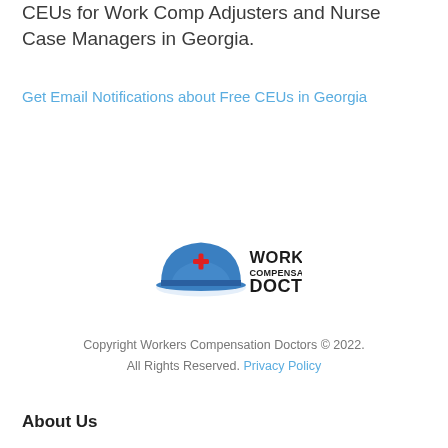CEUs for Work Comp Adjusters and Nurse Case Managers in Georgia.
Get Email Notifications about Free CEUs in Georgia
[Figure (logo): Workers Compensation Doctors logo featuring a blue hard hat with a red cross, and the text 'WORKERS COMPENSATION DOCTORS' in bold black letters.]
Copyright Workers Compensation Doctors © 2022. All Rights Reserved. Privacy Policy
About Us